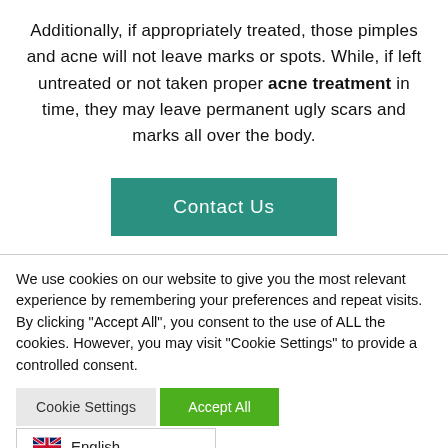Additionally, if appropriately treated, those pimples and acne will not leave marks or spots. While, if left untreated or not taken proper acne treatment in time, they may leave permanent ugly scars and marks all over the body.
Contact Us
We use cookies on our website to give you the most relevant experience by remembering your preferences and repeat visits. By clicking "Accept All", you consent to the use of ALL the cookies. However, you may visit "Cookie Settings" to provide a controlled consent.
Cookie Settings | Accept All
English